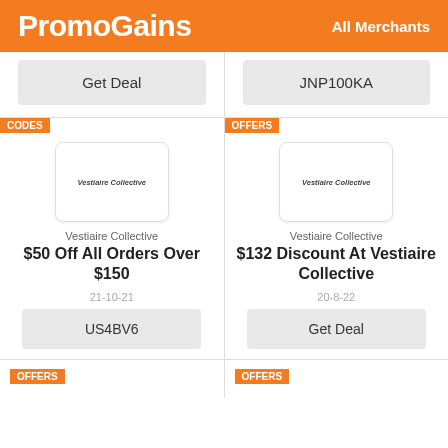PromoGains | All Merchants
Get Deal
JNP100KA
CODES
Vestiaire Collective
$50 Off All Orders Over $150
21-10-21
US4BV6
OFFERS
Vestiaire Collective
$132 Discount At Vestiaire Collective
20-8-22
Get Deal
OFFERS
OFFERS